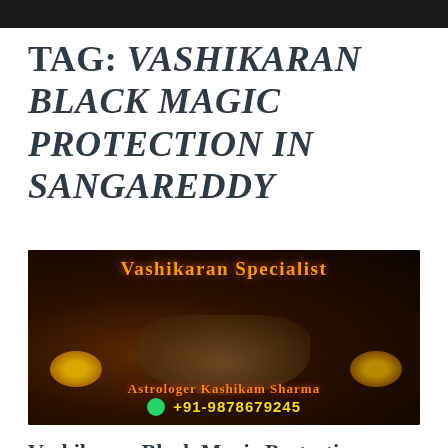TAG: VASHIKARAN BLACK MAGIC PROTECTION IN SANGAREDDY
[Figure (photo): Dark background with voodoo doll, straw, and two candles. Text overlay: 'VASHIKARAN SPECIALIST' in orange at top, 'ASTROLOGER KASHIKAM SHARMA' and '+91-9878679245' with WhatsApp icon at bottom.]
Vashikaran Black Magic Protection